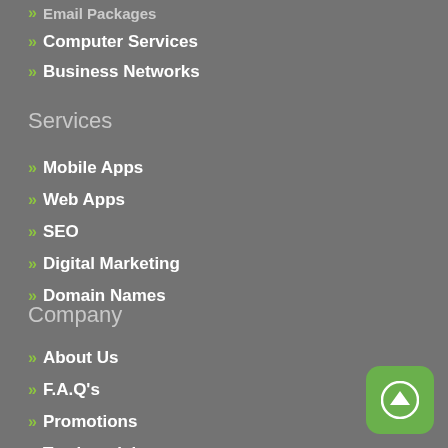Computer Services
Business Networks
Services
Mobile Apps
Web Apps
SEO
Digital Marketing
Domain Names
Company
About Us
F.A.Q's
Promotions
Testimonials
Affiliates